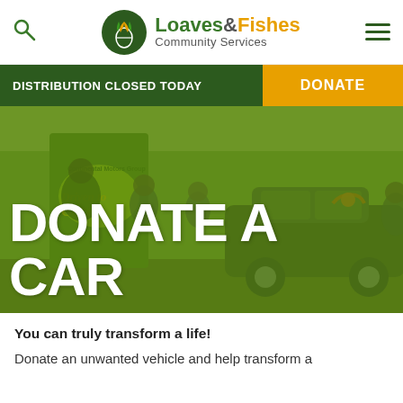[Figure (logo): Loaves & Fishes Community Services logo with green circular emblem]
DISTRIBUTION CLOSED TODAY   DONATE
[Figure (photo): People gathered around a car with a green overlay banner reading 'Driven to Care', car has an orange bow on it]
DONATE A CAR
You can truly transform a life!
Donate an unwanted vehicle and help transform a